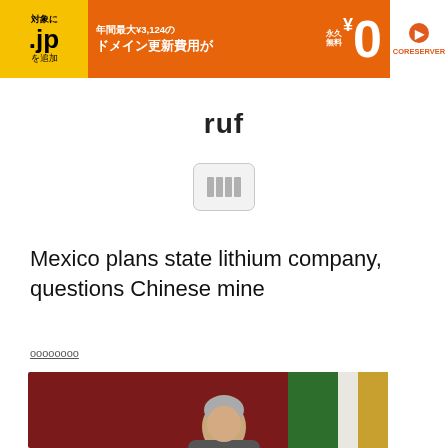[Figure (other): Advertisement banner for CORESERVER.jp domain renewal service. Orange/yellow background with Japanese text: 対象に .jp を追加, 年間最大¥3,124のドメイン更新費用が ¥0, with CORESERVER logo on white right side.]
ruf
[Figure (other): Small app icon placeholder with grid/table icon, light gray rounded rectangle border.]
Mexico plans state lithium company, questions Chinese mine
oooooooo
[Figure (photo): Photo of a gray-haired man speaking at a podium, with a red background and a Mexican flag visible in the upper right corner.]